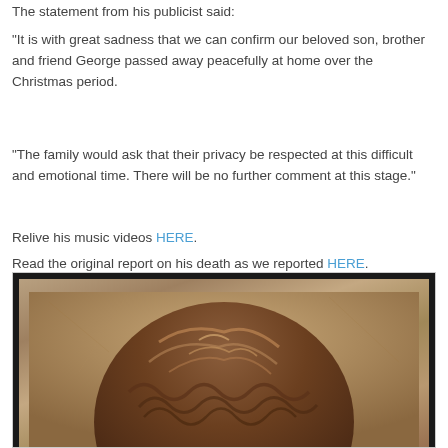The statement from his publicist said:
“It is with great sadness that we can confirm our beloved son, brother and friend George passed away peacefully at home over the Christmas period.
“The family would ask that their privacy be respected at this difficult and emotional time. There will be no further comment at this stage.”
Relive his music videos HERE.
Read the original report on his death as we reported HERE.
[Figure (photo): A photograph showing the top/back of a person's head with curly brown hair, against a muted beige/grey textured background.]